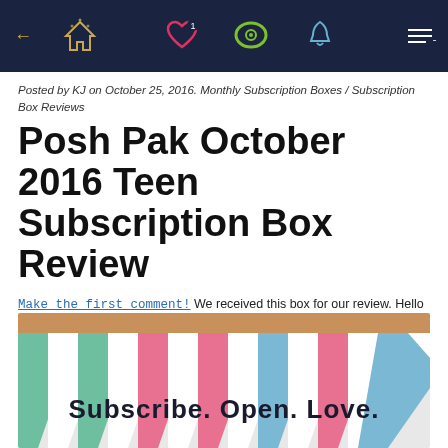Navigation bar with home, heart, chat, bell, and arrow icons
Posted by KJ on October 25, 2016. Monthly Subscription Boxes / Subscription Box Reviews
Posh Pak October 2016 Teen Subscription Box Review
Make the first comment! We received this box for our review. Hello Subscription independently researches and reviews the best subscriptions and products. Things you buy through our links may earn us a commission.
[Figure (photo): Colorful zebra-stripe patterned subscription box with text 'Subscribe. Open. Love.' printed on it in dark letters]